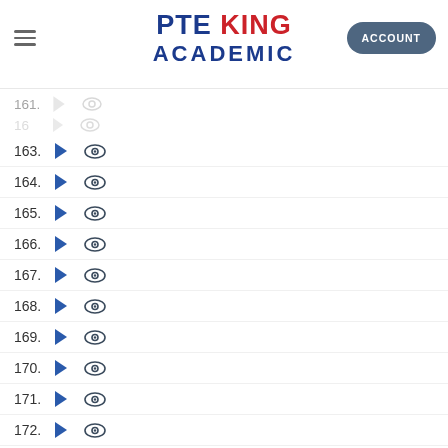PTE KING ACADEMIC — ACCOUNT
161.
162.
163.
164.
165.
166.
167.
168.
169.
170.
171.
172.
173.